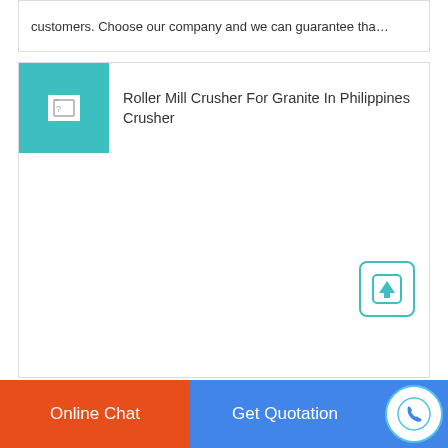customers. Choose our company and we can guarantee tha…
Roller Mill Crusher For Granite In Philippines Crusher
[Figure (illustration): Teal/cyan square thumbnail with broken image icon, next to article title about Roller Mill Crusher]
[Figure (other): Back to top button: teal rounded square with upward arrow icon]
Online Chat
Get Quotation
[Figure (other): Phone icon in circular button on blue background]